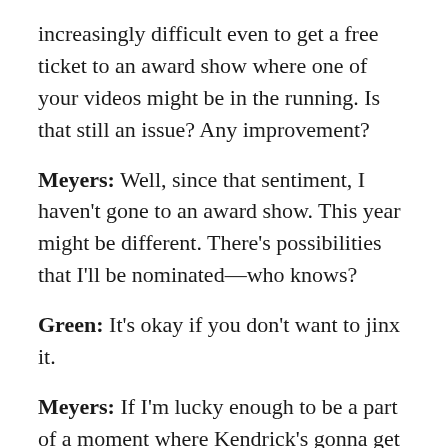increasingly difficult even to get a free ticket to an award show where one of your videos might be in the running. Is that still an issue? Any improvement?
Meyers: Well, since that sentiment, I haven't gone to an award show. This year might be different. There's possibilities that I'll be nominated—who knows?
Green: It's okay if you don't want to jinx it.
Meyers: If I'm lucky enough to be a part of a moment where Kendrick's gonna get acknowledged, I'd like to be there with Kendrick. And if he wants me there or he's inviting me to be